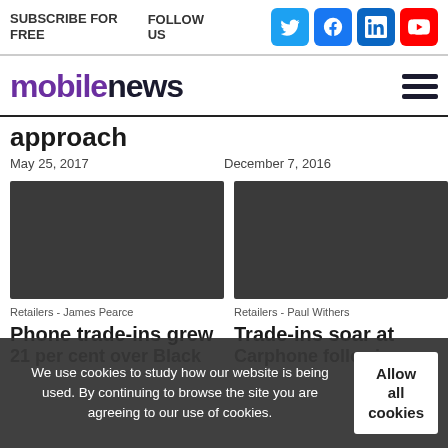SUBSCRIBE FOR FREE   FOLLOW US
mobilenews
approach
May 25, 2017
December 7, 2016
[Figure (photo): Dark placeholder image for article 1]
[Figure (photo): Dark placeholder image for article 2]
Retailers - James Pearce
Phone trade-ins grew 21 per cent over Black
Retailers - Paul Withers
Trade-ins soar at Carphone following
We use cookies to study how our website is being used. By continuing to browse the site you are agreeing to our use of cookies.
Allow all cookies